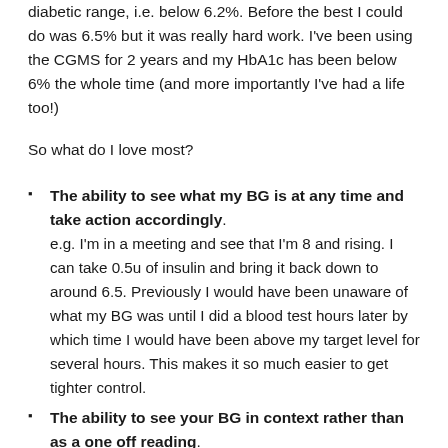diabetic range, i.e. below 6.2%. Before the best I could do was 6.5% but it was really hard work. I've been using the CGMS for 2 years and my HbA1c has been below 6% the whole time (and more importantly I've had a life too!)
So what do I love most?
The ability to see what my BG is at any time and take action accordingly. e.g. I'm in a meeting and see that I'm 8 and rising. I can take 0.5u of insulin and bring it back down to around 6.5. Previously I would have been unaware of what my BG was until I did a blood test hours later by which time I would have been above my target level for several hours. This makes it so much easier to get tighter control.
The ability to see your BG in context rather than as a one off reading. e.g. I see that I'm a 4. If that's from a single blood test I have to eat to be sure I'm not going to go hypo. Now